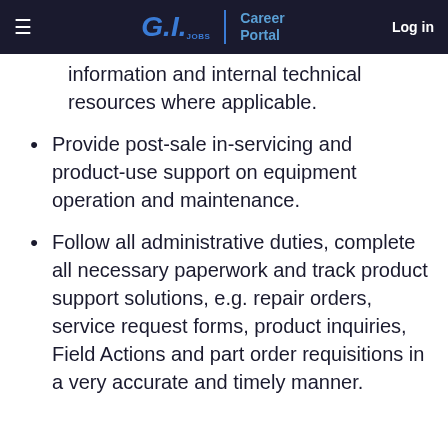G.I. Jobs | Career Portal  Log in
information and internal technical resources where applicable.
Provide post-sale in-servicing and product-use support on equipment operation and maintenance.
Follow all administrative duties, complete all necessary paperwork and track product support solutions, e.g. repair orders, service request forms, product inquiries, Field Actions and part order requisitions in a very accurate and timely manner.